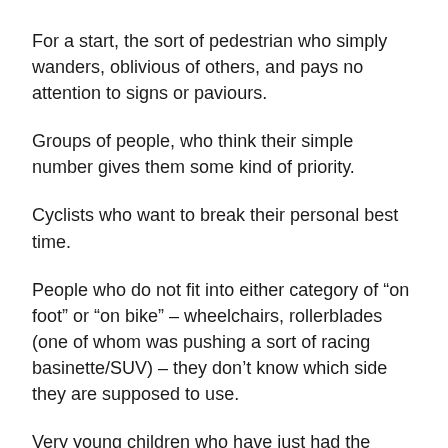For a start, the sort of pedestrian who simply wanders, oblivious of others, and pays no attention to signs or paviours.
Groups of people, who think their simple number gives them some kind of priority.
Cyclists who want to break their personal best time.
People who do not fit into either category of “on foot” or “on bike” – wheelchairs, rollerblades (one of whom was pushing a sort of racing basinette/SUV) – they don’t know which side they are supposed to use.
Very young children who have just had the training wheels taken off their bikes. (Actually they are doing fine: it’s the “adults” who are the issue. )